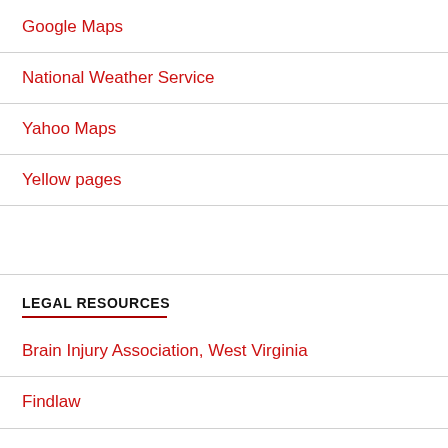Google Maps
National Weather Service
Yahoo Maps
Yellow pages
LEGAL RESOURCES
Brain Injury Association, West Virginia
Findlaw